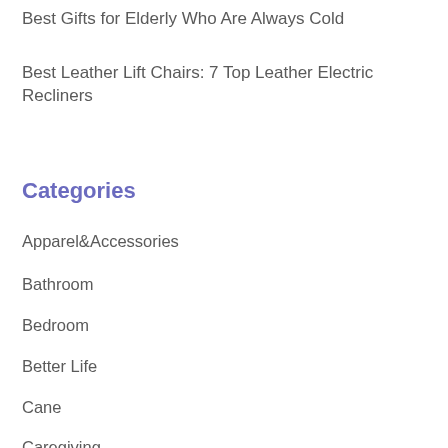Best Gifts for Elderly Who Are Always Cold
Best Leather Lift Chairs: 7 Top Leather Electric Recliners
Categories
Apparel&Accessories
Bathroom
Bedroom
Better Life
Cane
Caregiving
Fitness